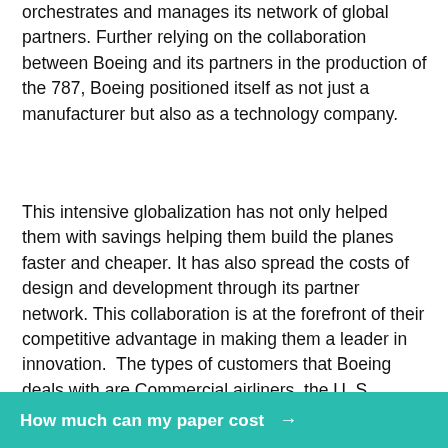orchestrates and manages its network of global partners. Further relying on the collaboration between Boeing and its partners in the production of the 787, Boeing positioned itself as not just a manufacturer but also as a technology company.
This intensive globalization has not only helped them with savings helping them build the planes faster and cheaper. It has also spread the costs of design and development through its partner network. This collaboration is at the forefront of their competitive advantage in making them a leader in innovation.  The types of customers that Boeing deals with are Commercial airliners, the U. S. government and NASA. Commercial airliners that Boeing sells are the major and minor airliners throughout the World, including many companies who rely on airplanes for shipping as
How much can my paper cost →